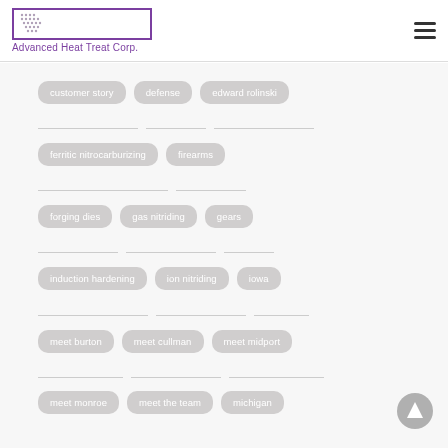Advanced Heat Treat Corp.
customer story
defense
edward rolinski
ferritic nitrocarburizing
firearms
forging dies
gas nitriding
gears
induction hardening
ion nitriding
iowa
meet burton
meet cullman
meet midport
meet monroe
meet the team
michigan